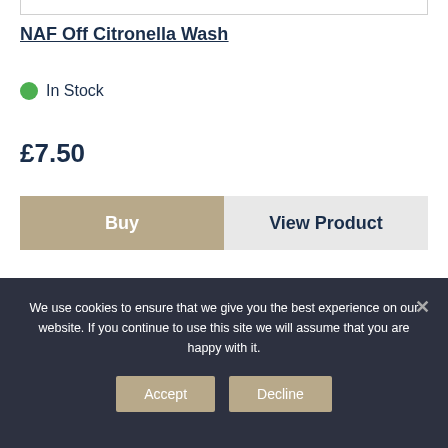NAF Off Citronella Wash
In Stock
£7.50
Buy | View Product
We use cookies to ensure that we give you the best experience on our website. If you continue to use this site we will assume that you are happy with it.
Accept | Decline